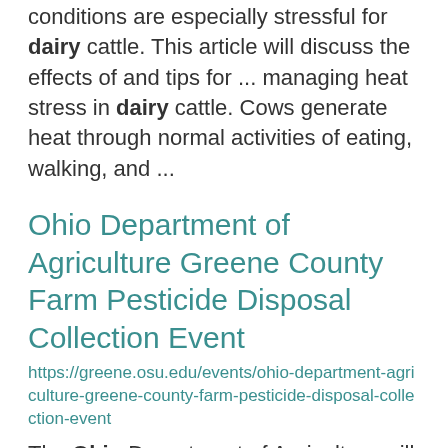conditions are especially stressful for dairy cattle. This article will discuss the effects of and tips for ... managing heat stress in dairy cattle. Cows generate heat through normal activities of eating, walking, and ...
Ohio Department of Agriculture Greene County Farm Pesticide Disposal Collection Event
https://greene.osu.edu/events/ohio-department-agriculture-greene-county-farm-pesticide-disposal-collection-event
The Ohio Department of Agriculture will be sponsoring three collection events for farmers wishing ... Environmental ...